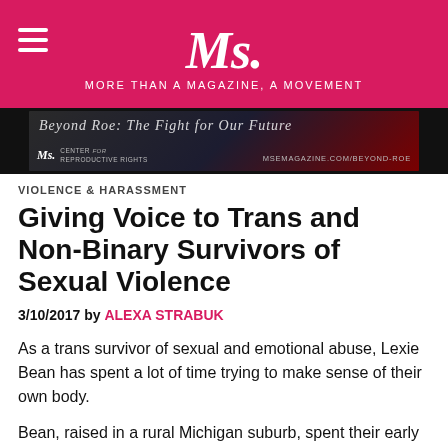Ms. MORE THAN A MAGAZINE, A MOVEMENT
[Figure (illustration): Ms. Magazine advertisement banner for 'Beyond Roe' featuring Center for Reproductive Rights, with URL msemagazine.com/beyond-roe]
VIOLENCE & HARASSMENT
Giving Voice to Trans and Non-Binary Survivors of Sexual Violence
3/10/2017 by ALEXA STRABUK
As a trans survivor of sexual and emotional abuse, Lexie Bean has spent a lot of time trying to make sense of their own body.
Bean, raised in a rural Michigan suburb, spent their early life disbelieved by those around them — which resulted in internalized notions of body and self. When they came out as trans, people said it